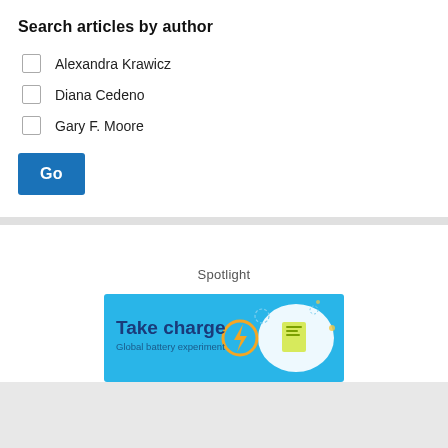Search articles by author
Alexandra Krawicz
Diana Cedeno
Gary F. Moore
Go
Spotlight
[Figure (illustration): Take charge - Global battery experiment advertisement banner with blue background, orange lightning bolt icon, and decorative dashed dotted elements]